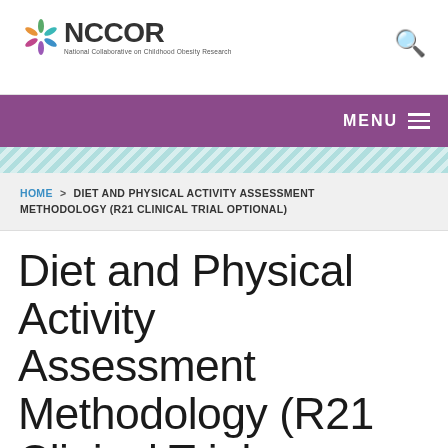[Figure (logo): NCCOR logo with star/snowflake icon and text 'National Collaborative on Childhood Obesity Research']
MENU
HOME > DIET AND PHYSICAL ACTIVITY ASSESSMENT METHODOLOGY (R21 CLINICAL TRIAL OPTIONAL)
Diet and Physical Activity Assessment Methodology (R21 Clinical Trial